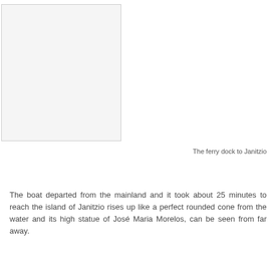[Figure (photo): A photo placeholder showing the ferry dock to Janitzio — appears as a white/light rectangle with a thin border on the left side of the page.]
The ferry dock to Janitzio
The boat departed from the mainland and it took about 25 minutes to reach the island of Janitzio rises up like a perfect rounded cone from the water and its high statue of José Maria Morelos, can be seen from far away.